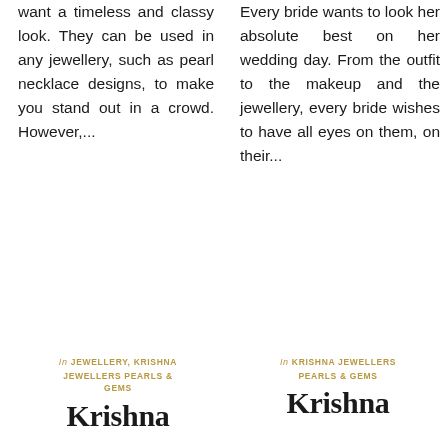want a timeless and classy look. They can be used in any jewellery, such as pearl necklace designs, to make you stand out in a crowd. However,...
Every bride wants to look her absolute best on her wedding day. From the outfit to the makeup and the jewellery, every bride wishes to have all eyes on them, on their...
In JEWELLERY, KRISHNA JEWELLERS PEARLS & GEMS
Krishna
In KRISHNA JEWELLERS PEARLS & GEMS
Krishna